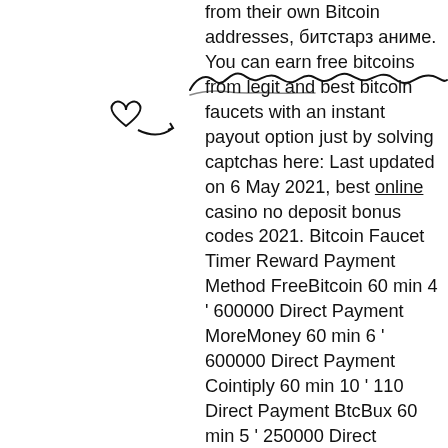[Figure (illustration): Handwritten cursive scrawl overlaid on text, with a heart and arrow doodle on the left side]
from their own Bitcoin addresses, битстарз аниме. You can earn free bitcoins from legit and best bitcoin faucets with an instant payout option just by solving captchas here: Last updated on 6 May 2021, best online casino no deposit bonus codes 2021. Bitcoin Faucet Timer Reward Payment Method FreeBitcoin 60 min 4 ' 600000 Direct Payment MoreMoney 60 min 6 ' 600000 Direct Payment Cointiply 60 min 10 ' 110 Direct Payment BtcBux 60 min 5 ' 250000 Direct Payment Grabtc 60 min 3 ' 300000 Direct Payment Bitcoinker 5 min 4 ' 100000 Direct Payment Get Your Bitcoin 5 min 1 Faucet Pay Time for Bitcoin 5 min 1 Faucet Pay WorldOfBitcoin 5 min 1 Faucet Pay FireFaucet (Autofaucet) 1 min 10 Direct Payment. Note: Rewards per claim on some Faucets may change, depending on the current Bitcoin price. Top 5 Best Bitcoin Faucets 2021